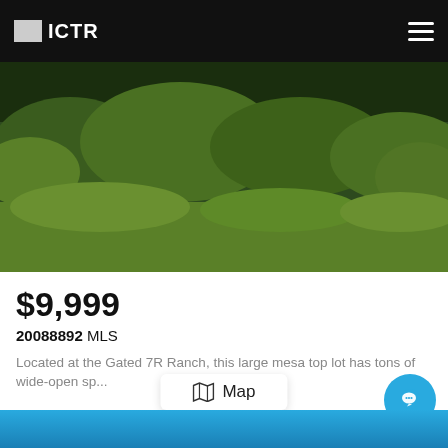ICTR
[Figure (photo): Outdoor photo showing a property sign reading '7-R D55 HENSLEY CASTLEMONT HOMES' on posts, surrounded by green vegetation and trees.]
$9,999
20088892 MLS
Located at the Gated 7R Ranch, this large mesa top lot has tons of wide-open sp...
D55 Hensley, Gordon
Listing courtesy of CLARK REAL ESTATE GROUP,
Map